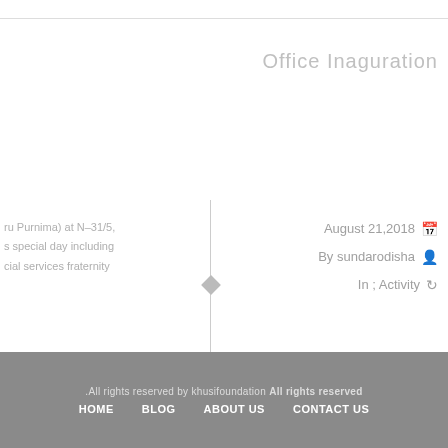Office Inaguration
ru Purnima) at N-31/5, s special day including cial services fraternity
August 21,2018  By sundarodisha  In ; Activity
.All rights reserved by khusifoundation All rights reserved  HOME  BLOG  ABOUT US  CONTACT US